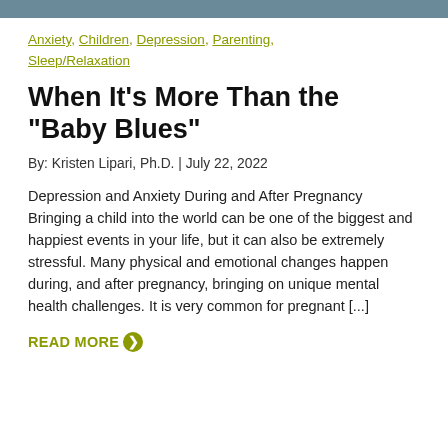[Figure (photo): Top image banner partially visible at the top of the page]
Anxiety, Children, Depression, Parenting, Sleep/Relaxation
When It's More Than the "Baby Blues"
By: Kristen Lipari, Ph.D. | July 22, 2022
Depression and Anxiety During and After Pregnancy   Bringing a child into the world can be one of the biggest and happiest events in your life, but it can also be extremely stressful. Many physical and emotional changes happen during, and after pregnancy, bringing on unique mental health challenges. It is very common for pregnant [...]
READ MORE